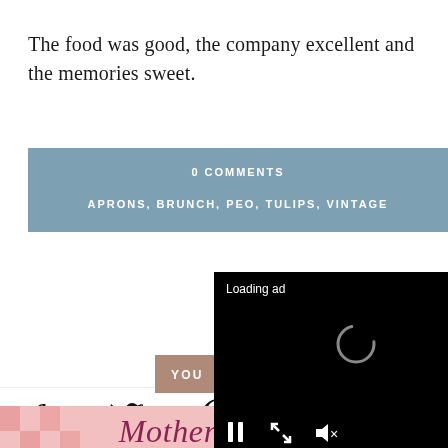The food was good, the company excellent and the memories sweet.
0 COMMENTS
APRONS, BRUNCH, PEO, TULIPS, VINTAGE
[Figure (screenshot): Black video ad overlay with 'Loading ad' text, a spinning loading indicator, pause button, expand button, and mute button controls at the bottom]
[Figure (screenshot): Pink gingham banner with 'Mother's Day' in cursive script, with an X close button on the right]
[Figure (infographic): Social sharing bar with Facebook, Twitter, Pinterest, email, and camera/print icons]